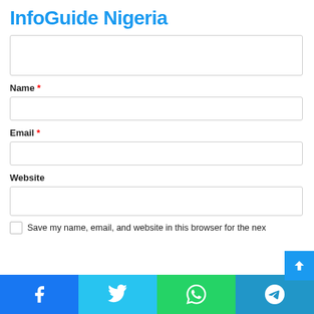InfoGuide Nigeria
Name *
Email *
Website
Save my name, email, and website in this browser for the nex